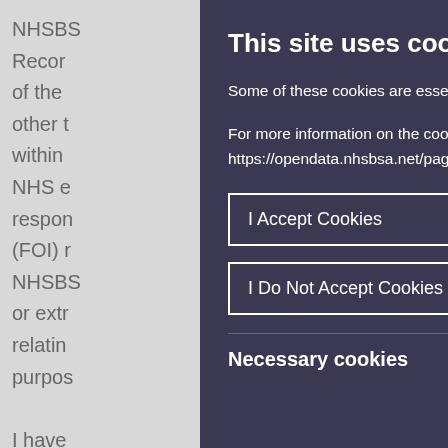NHSBS
Recor
of the
other t
within
NHS e
respon
(FOI) r
NHSBS
or extr
relatin
purpos

I have
organi
also su
This site uses cookies.
Some of these cookies are essential, while othe help us to improve your experience by providing insights into how the site is being used.
For more information on the cookies we use, please check our Cookies Page. https://opendata.nhsbsa.net/pages/cookies
I Accept Cookies
I Do Not Accept Cookies
Necessary cookies